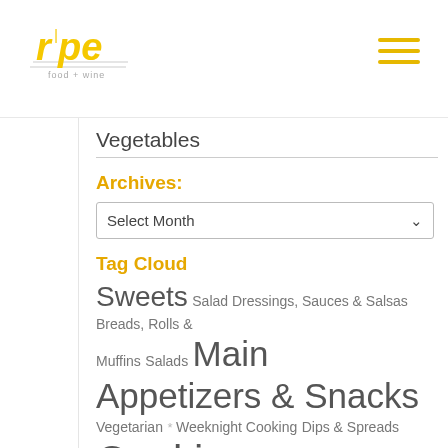ripe - food + wine (logo and navigation)
Vegetables
Archives:
Select Month
Tag Cloud
Sweets  Salad Dressings, Sauces & Salsas  Breads, Rolls & Muffins  Salads  Main Appetizers & Snacks  Vegetarian  *  Weeknight Cooking  Dips & Spreads  Cookies & Treats  Poultry  Fish & Shellfish  Vegetables